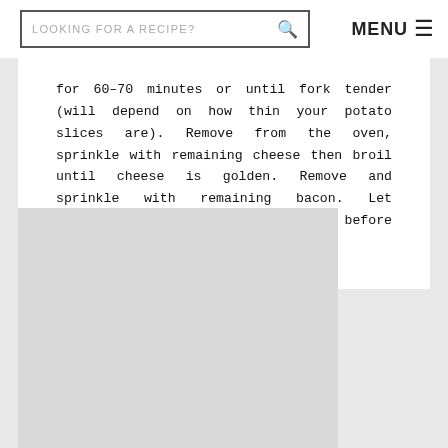LOOKING FOR A RECIPE?  MENU
for 60–70 minutes or until fork tender (will depend on how thin your potato slices are). Remove from the oven, sprinkle with remaining cheese then broil until cheese is golden. Remove and sprinkle with remaining bacon. Let potatoes rest for 10 minutes before serving.
[Figure (photo): Large light gray image placeholder area below the recipe text]